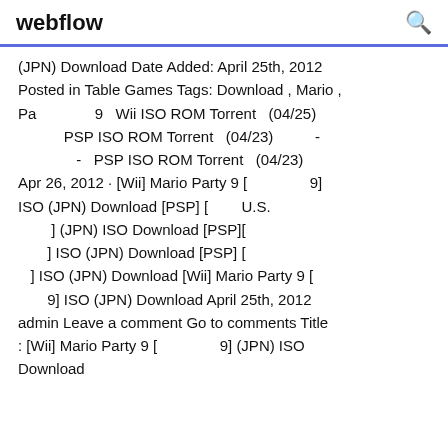webflow
(JPN) Download Date Added: April 25th, 2012 Posted in Table Games Tags: Download , Mario , Pa          9   Wii ISO ROM Torrent   (04/25)              PSP ISO ROM Torrent   (04/23)          -            -   PSP ISO ROM Torrent   (04/23) Apr 26, 2012 · [Wii] Mario Party 9 [              9] ISO (JPN) Download [PSP] [        U.S.        ] (JPN) ISO Download [PSP][         ] ISO (JPN) Download [PSP] [       ] ISO (JPN) Download [Wii] Mario Party 9 [      9] ISO (JPN) Download April 25th, 2012 admin Leave a comment Go to comments Title : [Wii] Mario Party 9 [              9] (JPN) ISO Download